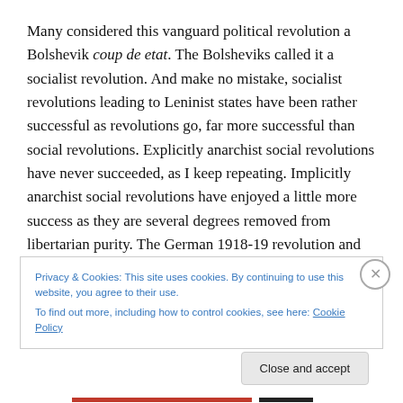Many considered this vanguard political revolution a Bolshevik coup de etat. The Bolsheviks called it a socialist revolution. And make no mistake, socialist revolutions leading to Leninist states have been rather successful as revolutions go, far more successful than social revolutions. Explicitly anarchist social revolutions have never succeeded, as I keep repeating. Implicitly anarchist social revolutions have enjoyed a little more success as they are several degrees removed from libertarian purity. The German 1918-19 revolution and civil war brought about
Privacy & Cookies: This site uses cookies. By continuing to use this website, you agree to their use.
To find out more, including how to control cookies, see here: Cookie Policy
Close and accept